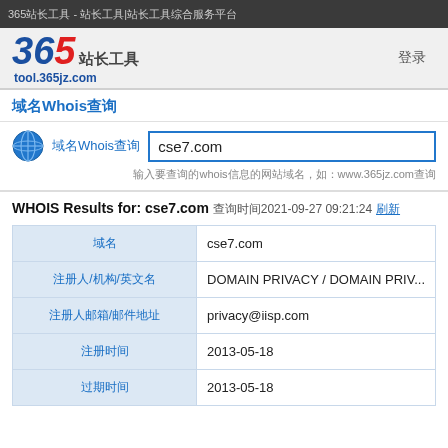365站长工具 - 站长工具|站长工具综合服务
[Figure (logo): 365站长工具 logo with text 'tool.365jz.com']
域名Whois查询
域名Whois查询 cse7.com
输入要查询的whois信息的网站域名，如：www.365jz.com
WHOIS Results for: cse7.com 查询时间2021-09-27 09:21:24 刷新
| 字段 | 值 |
| --- | --- |
| 域名 | cse7.com |
| 注册人/机构/英文名 | DOMAIN PRIVACY / DOMAIN PRIV... |
| 注册人邮箱/邮件地址 | privacy@iisp.com |
| 注册时间 | 2013-05-18 |
| 过期时间 | 2013-05-18 |